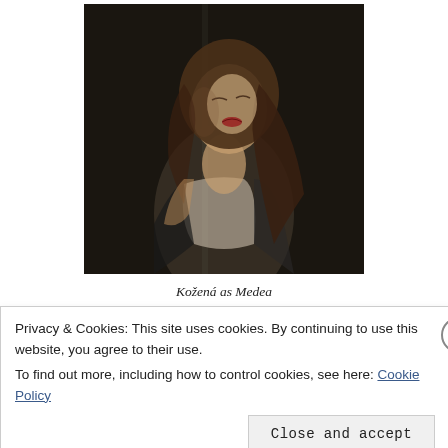[Figure (photo): A woman with long brown hair, eyes closed, head tilted back slightly, wearing a white sleeveless top and black garment, performing or singing on a dark stage.]
Kožená as Medea
Privacy & Cookies: This site uses cookies. By continuing to use this website, you agree to their use.
To find out more, including how to control cookies, see here: Cookie Policy
Close and accept